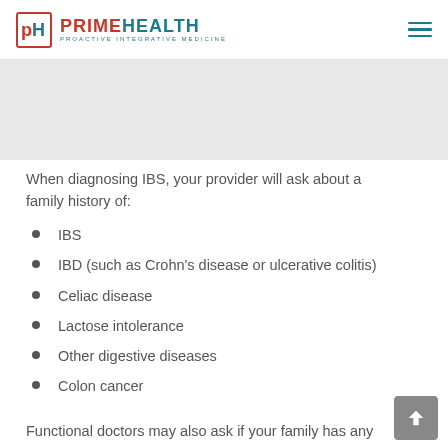PRIMEHEALTH — PROACTIVE INTEGRATIVE MEDICINE
[Figure (photo): Gray placeholder image area at the top of the article content]
When diagnosing IBS, your provider will ask about a family history of:
IBS
IBD (such as Crohn's disease or ulcerative colitis)
Celiac disease
Lactose intolerance
Other digestive diseases
Colon cancer
Functional doctors may also ask if your family has any